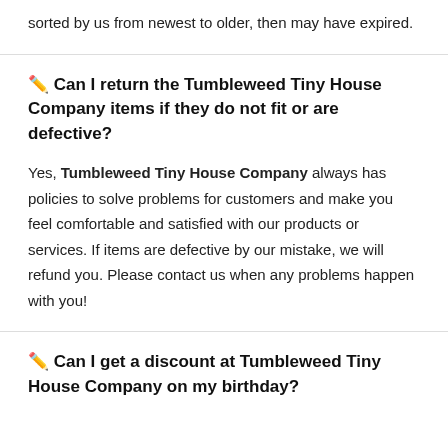sorted by us from newest to older, then may have expired.
✏️ Can I return the Tumbleweed Tiny House Company items if they do not fit or are defective?
Yes, Tumbleweed Tiny House Company always has policies to solve problems for customers and make you feel comfortable and satisfied with our products or services. If items are defective by our mistake, we will refund you. Please contact us when any problems happen with you!
✏️ Can I get a discount at Tumbleweed Tiny House Company on my birthday?